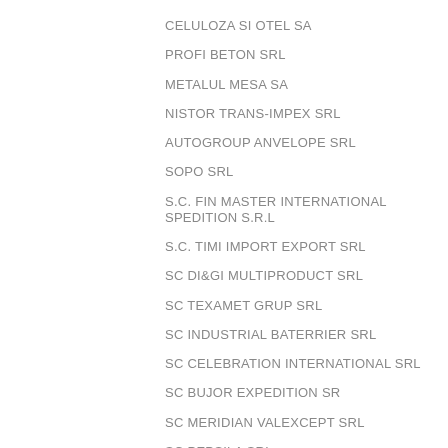CELULOZA SI OTEL SA
PROFI BETON SRL
METALUL MESA SA
NISTOR TRANS-IMPEX SRL
AUTOGROUP ANVELOPE SRL
SOPO SRL
S.C. FIN MASTER INTERNATIONAL SPEDITION S.R.L
S.C. TIMI IMPORT EXPORT SRL
SC DI&GI MULTIPRODUCT SRL
SC TEXAMET GRUP SRL
SC INDUSTRIAL BATERRIER SRL
SC CELEBRATION INTERNATIONAL SRL
SC BUJOR EXPEDITION SR
SC MERIDIAN VALEXCEPT SRL
SC PEPSILA SRL
SC APPROACH TRANSPORT SRL